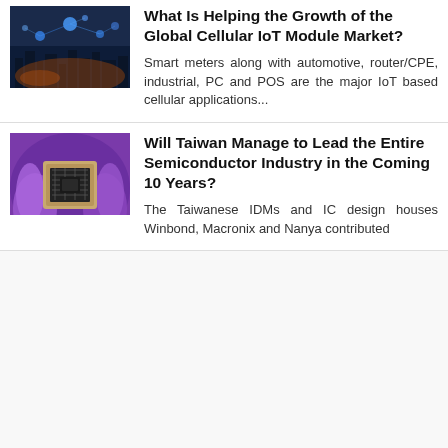[Figure (photo): Abstract technology image showing glowing blue network/city lights]
What Is Helping the Growth of the Global Cellular IoT Module Market?
Smart meters along with automotive, router/CPE, industrial, PC and POS are the major IoT based cellular applications...
[Figure (photo): Gloved hands holding a semiconductor/microchip wafer with purple/violet gloves]
Will Taiwan Manage to Lead the Entire Semiconductor Industry in the Coming 10 Years?
The Taiwanese IDMs and IC design houses Winbond, Macronix and Nanya contributed